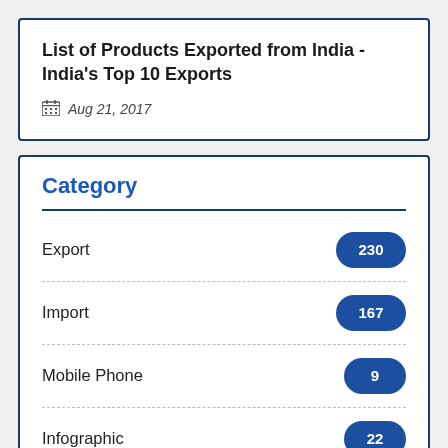List of Products Exported from India - India's Top 10 Exports
Aug 21, 2017
Category
Export 230
Import 167
Mobile Phone 9
Infographic 22
Import and Export 159